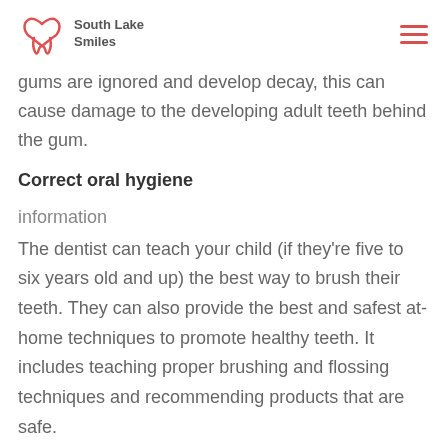South Lake Smiles
gums are ignored and develop decay, this can cause damage to the developing adult teeth behind the gum.
Correct oral hygiene
information
The dentist can teach your child (if they're five to six years old and up) the best way to brush their teeth. They can also provide the best and safest at-home techniques to promote healthy teeth. It includes teaching proper brushing and flossing techniques and recommending products that are safe.